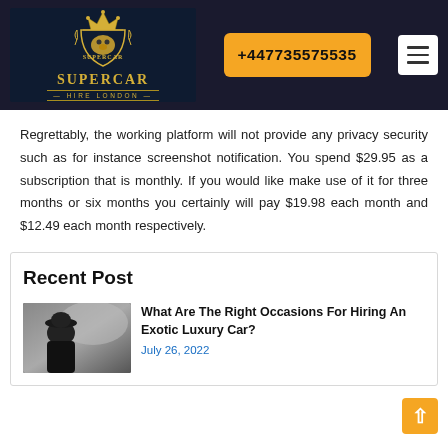[Figure (logo): Supercar Hire London logo — gold lion crest with crown on dark navy background, gold text SUPERCAR HIRE LONDON]
+447735575535
Regrettably, the working platform will not provide any privacy security such as for instance screenshot notification. You spend $29.95 as a subscription that is monthly. If you would like make use of it for three months or six months you certainly will pay $19.98 each month and $12.49 each month respectively.
Recent Post
[Figure (photo): Man in suit sitting in a luxury car, driver perspective]
What Are The Right Occasions For Hiring An Exotic Luxury Car?
July 26, 2022